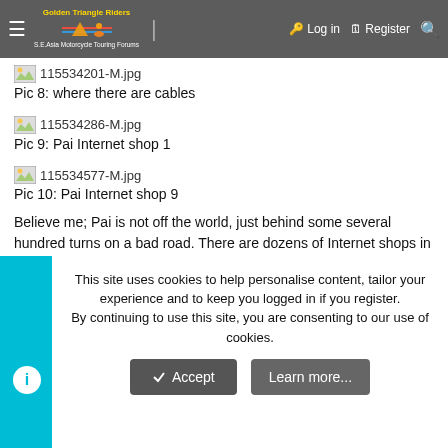couple of years ago and had complained to his issue the lack of Internet here for you, Nicole: Pai's Internet
Golden Triangle Riders | ☰ | Log in | Register | Search
[Figure (screenshot): Broken image placeholder icon for 115534201-M.jpg]
Pic 8: where there are cables
[Figure (screenshot): Broken image placeholder icon for 115534286-M.jpg]
Pic 9: Pai Internet shop 1
[Figure (screenshot): Broken image placeholder icon for 115534577-M.jpg]
Pic 10: Pai Internet shop 9
Believe me; Pai is not off the world, just behind some several hundred turns on a bad road. There are dozens of Internet shops in Pai these days, but whether they work, I do not know. We were off to put gas into our rides and then on the road again. Bowing my head to the cool morning I had dressed in what Barry called my 'Cold Weather Gear'; in honor of the
This site uses cookies to help personalise content, tailor your experience and to keep you logged in if you register. By continuing to use this site, you are consenting to our use of cookies.
Accept | Learn more...